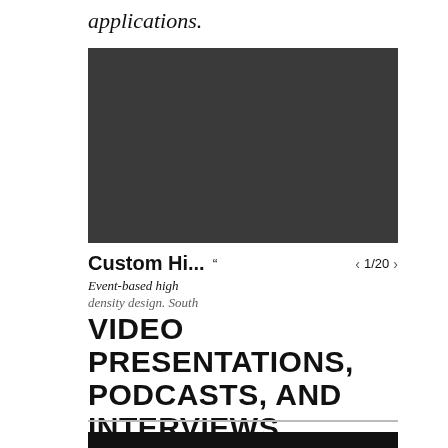applications.
[Figure (screenshot): Dark gray/charcoal rectangular video player block]
Custom Hi... " < 1/20 >
Event-based high density design. South
VIDEO PRESENTATIONS, PODCASTS, AND INTERVIEWS